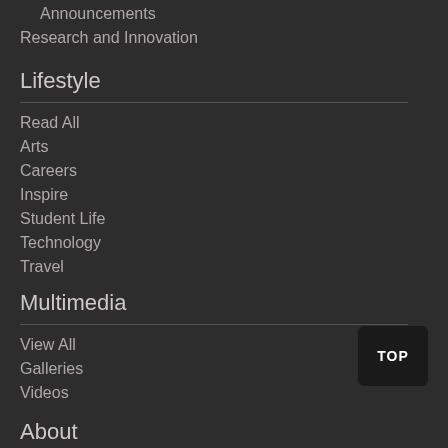Announcements
Research and Innovation
Lifestyle
Read All
Arts
Careers
Inspire
Student Life
Technology
Travel
Multimedia
View All
Galleries
Videos
About